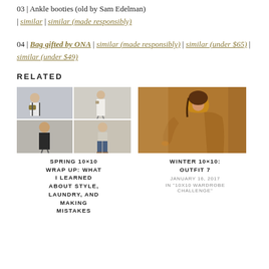03 | Ankle booties (old by Sam Edelman) | similar | similar (made responsibly)
04 | Bag gifted by ONA | similar (made responsibly) | similar (under $65) | similar (under $49)
RELATED
[Figure (photo): Collage of fashion/outfit photos showing women in casual outfits with jeans and bags]
SPRING 10×10 WRAP UP: WHAT I LEARNED ABOUT STYLE, LAUNDRY, AND MAKING MISTAKES
[Figure (photo): Woman wearing a caramel/brown oversized sweater, side view]
WINTER 10×10: OUTFIT 7
JANUARY 16, 2017
IN "10X10 WARDROBE CHALLENGE"